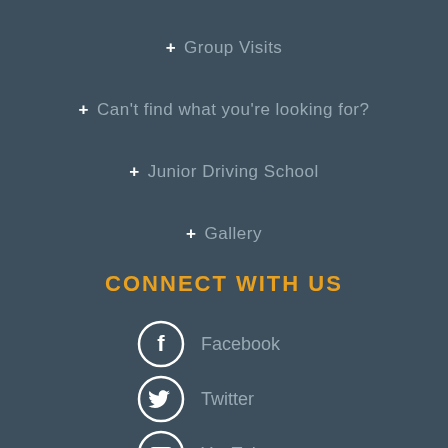+ Group Visits
+ Can't find what you're looking for?
+ Junior Driving School
+ Gallery
CONNECT WITH US
Facebook
Twitter
YouTube
Instagram